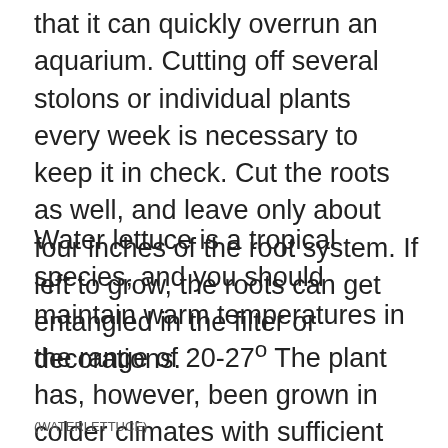that it can quickly overrun an aquarium. Cutting off several stolons or individual plants every week is necessary to keep it in check. Cut the roots as well, and leave only about four inches of the root system. If left to grow, the roots can get entangled in the filter or decorations.
Water lettuce is a tropical species, and you should maintain warm temperatures in the range of 20-27º The plant has, however, been grown in colder climates with sufficient protection. If the room where the aquarium is located lacks humidity, keep the tank covered at all times. The ideal PH range is 6.0-7.5.
(WATERLETTUCE)